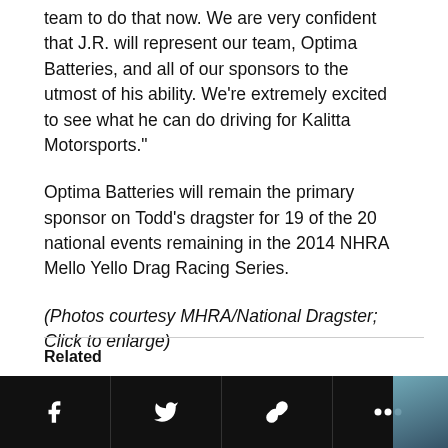team to do that now. We are very confident that J.R. will represent our team, Optima Batteries, and all of our sponsors to the utmost of his ability. We're extremely excited to see what he can do driving for Kalitta Motorsports."
Optima Batteries will remain the primary sponsor on Todd's dragster for 19 of the 20 national events remaining in the 2014 NHRA Mello Yello Drag Racing Series.
(Photos courtesy MHRA/National Dragster; Click to enlarge)
Related